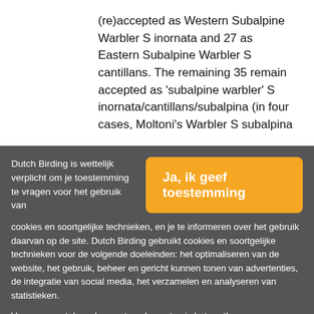(re)accepted as Western Subalpine Warbler S inornata and 27 as Eastern Subalpine Warbler S cantillans. The remaining 35 remain accepted as 'subalpine warbler' S inornata/cantillans/subalpina (in four cases, Moltoni's Warbler S subalpina
Dutch Birding is wettelijk verplicht om je toestemming te vragen voor het gebruik van cookies en soortgelijke technieken, en je te informeren over het gebruik daarvan op de site. Dutch Birding gebruikt cookies en soortgelijke technieken voor de volgende doeleinden: het optimaliseren van de website, het gebruik, beheer en gericht kunnen tonen van advertenties, de integratie van social media, het verzamelen en analyseren van statistieken.
Ja, ik geef toestemming
Voor een aantal van bovenstaande punten is het vastleggen van bezoekersgedrag noodzakelijk. Ook derde partijen kunnen deze cookies plaatsen, zoals bijvoorbeeld het geval is bij embedded video's van YouTube.